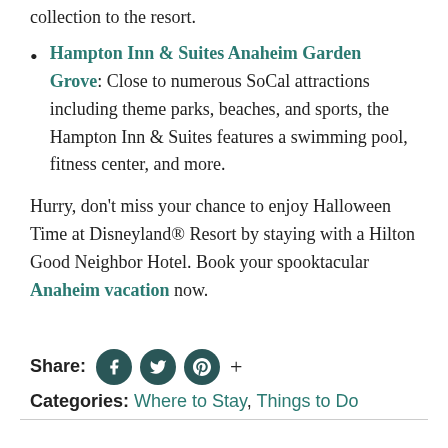collection to the resort.
Hampton Inn & Suites Anaheim Garden Grove: Close to numerous SoCal attractions including theme parks, beaches, and sports, the Hampton Inn & Suites features a swimming pool, fitness center, and more.
Hurry, don't miss your chance to enjoy Halloween Time at Disneyland® Resort by staying with a Hilton Good Neighbor Hotel. Book your spooktacular Anaheim vacation now.
Share: [social icons] Categories: Where to Stay, Things to Do